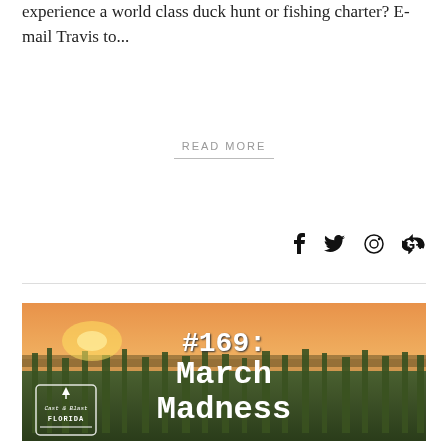experience a world class duck hunt or fishing charter? E-mail Travis to...
READ MORE
[Figure (photo): Wetland marsh scene at sunset with tall grasses and orange sky, overlaid with white typewriter-style text reading '#169: March Madness' and a Cast & Blast Florida logo in the lower left corner.]